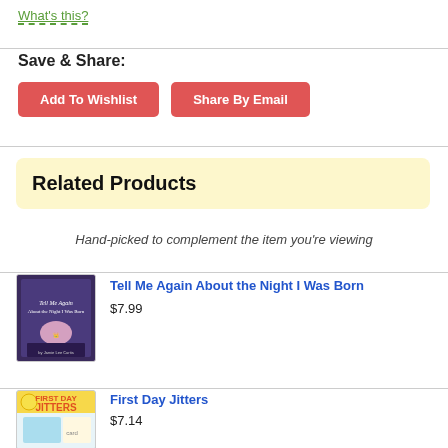What's this?
Save & Share:
Add To Wishlist
Share By Email
Related Products
Hand-picked to complement the item you're viewing
Tell Me Again About the Night I Was Born
$7.99
First Day Jitters
$7.14